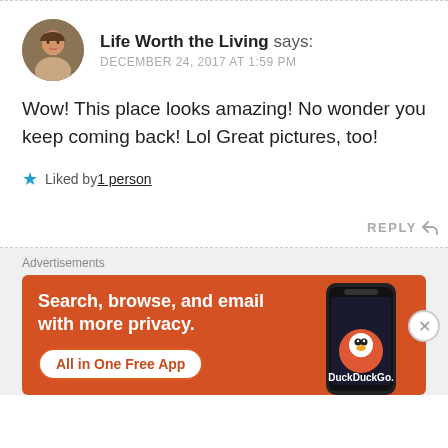Life Worth the Living says: DECEMBER 24, 2017 AT 1:59 PM
Wow! This place looks amazing! No wonder you keep coming back! Lol Great pictures, too!
★ Liked by 1 person
REPLY ↩
Advertisements
[Figure (screenshot): DuckDuckGo advertisement banner with orange background showing 'Search, browse, and email with more privacy. All in One Free App' with a phone graphic and DuckDuckGo logo]